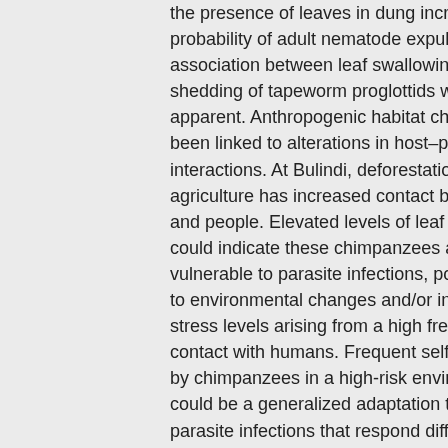the presence of leaves in dung incr... probability of adult nematode expul... association between leaf swallowing... shedding of tapeworm proglottids w... apparent. Anthropogenic habitat ch... been linked to alterations in host–pa... interactions. At Bulindi, deforestation... agriculture has increased contact be... and people. Elevated levels of leaf s... could indicate these chimpanzees a... vulnerable to parasite infections, po... to environmental changes and/or in... stress levels arising from a high freq... contact with humans. Frequent self-... by chimpanzees in a high-risk enviro... could be a generalized adaptation t... parasite infections that respond diff... the behavior. Future parasitological